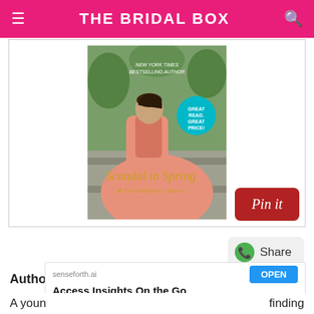THE BRIDAL BOX
[Figure (illustration): Book cover of 'Scandal in Spring - The Wallflowers, Book 4' by a New York Times Bestselling Author, showing a woman in a peach/coral historical dress reclining against stone steps in a garden setting. A teal circle badge reads 'GREAT READ. GREAT PRICE!']
[Figure (other): Dark red 'Pin it' button with italic white text]
[Figure (other): Green WhatsApp-style Share button]
Author:
[Figure (screenshot): Advertisement banner: senseforth.ai - 'Access Insights On the Go' with blue OPEN button and close icons]
A youn
finding